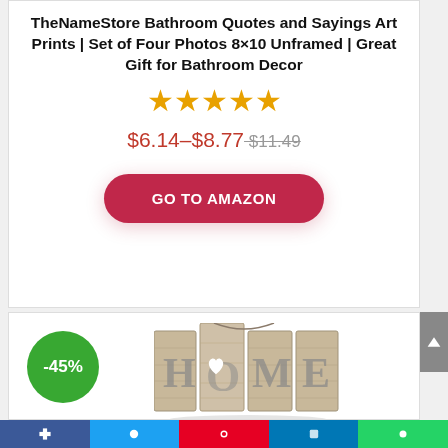TheNameStore Bathroom Quotes and Sayings Art Prints | Set of Four Photos 8×10 Unframed | Great Gift for Bathroom Decor
[Figure (other): Five orange star rating icons]
$6.14–$8.77 $11.49
GO TO AMAZON
[Figure (photo): A decorative multi-panel wall art showing the word HOME with a heart replacing the O, in a rustic wood style]
-45%